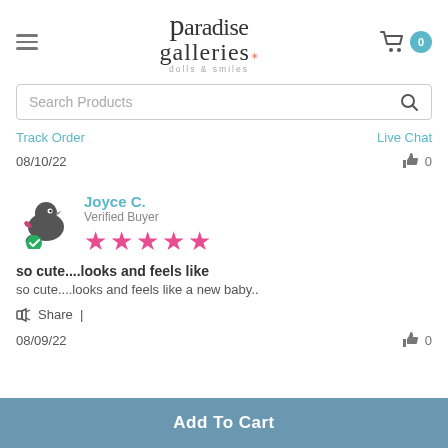Paradise Galleries dolls & smiles
Search Products
Track Order | Live Chat
08/10/22  👍 0
Joyce C. Verified Buyer ★★★★★
so cute....looks and feels like
so cute....looks and feels like a new baby..
Share |
08/09/22  👍 0
Add To Cart